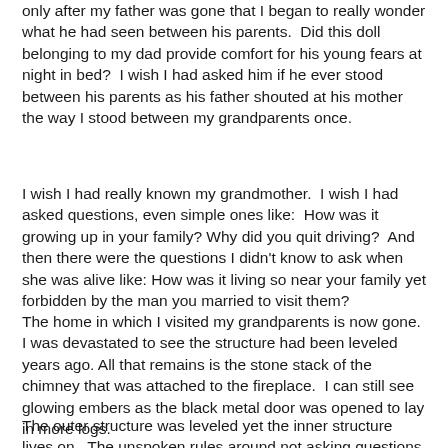only after my father was gone that I began to really wonder what he had seen between his parents.  Did this doll belonging to my dad provide comfort for his young fears at night in bed?  I wish I had asked him if he ever stood between his parents as his father shouted at his mother the way I stood between my grandparents once.
I wish I had really known my grandmother.  I wish I had asked questions, even simple ones like:  How was it growing up in your family? Why did you quit driving?  And then there were the questions I didn't know to ask when she was alive like: How was it living so near your family yet forbidden by the man you married to visit them?
The home in which I visited my grandparents is now gone. I was devastated to see the structure had been leveled years ago. All that remains is the stone stack of the chimney that was attached to the fireplace.  I can still see glowing embers as the black metal door was opened to lay in more logs.
The outer structure was leveled yet the inner structure lives on.  The unspoken rules around not asking questions, not knowing about family history If still be told